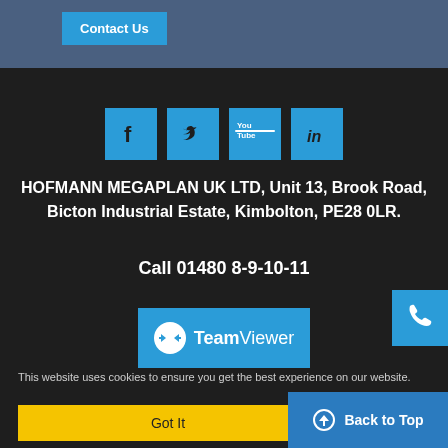Contact Us
[Figure (logo): Social media icons row: Facebook, Twitter, YouTube, LinkedIn — all in blue square buttons]
HOFMANN MEGAPLAN UK LTD, Unit 13, Brook Road, Bicton Industrial Estate, Kimbolton, PE28 0LR.
Call 01480 8-9-10-11
[Figure (logo): TeamViewer logo: blue background with white double-arrow circle icon and 'TeamViewer' text]
This website uses cookies to ensure you get the best experience on our website.
Got It
copyright 2013
Back to Top